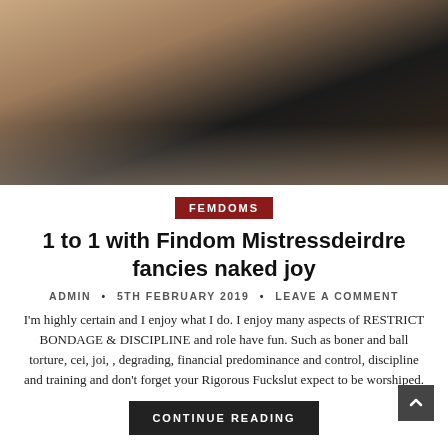[Figure (photo): Person in black clothing on a bed with white sheets]
FEMDOMS
1 to 1 with Findom Mistressdeirdre fancies naked joy
ADMIN • 5TH FEBRUARY 2019 • LEAVE A COMMENT
I'm highly certain and I enjoy what I do. I enjoy many aspects of RESTRICT BONDAGE & DISCIPLINE and role have fun. Such as boner and ball torture, cei, joi, , degrading, financial predominance and control, discipline and training and don't forget your Rigorous Fuckslut expect to be worshiped.
CONTINUE READING